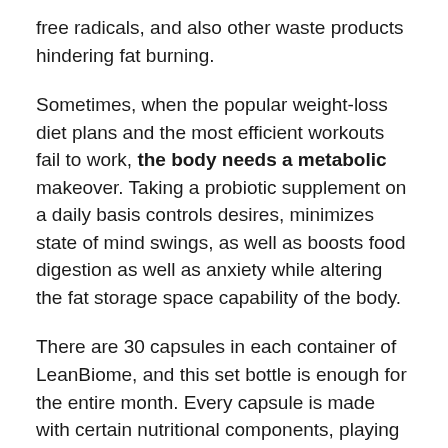free radicals, and also other waste products hindering fat burning.
Sometimes, when the popular weight-loss diet plans and the most efficient workouts fail to work, the body needs a metabolic makeover. Taking a probiotic supplement on a daily basis controls desires, minimizes state of mind swings, as well as boosts food digestion as well as anxiety while altering the fat storage space capability of the body.
There are 30 capsules in each container of LeanBiome, and this set bottle is enough for the entire month. Every capsule is made with certain nutritional components, playing an useful duty in